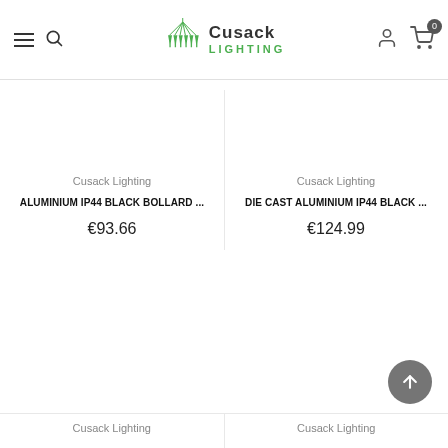Cusack Lighting — navigation bar with hamburger menu, search, logo, account and cart icons
Cusack Lighting
ALUMINIUM IP44 BLACK BOLLARD ...
€93.66
Cusack Lighting
DIE CAST ALUMINIUM IP44 BLACK ...
€124.99
Cusack Lighting
Cusack Lighting